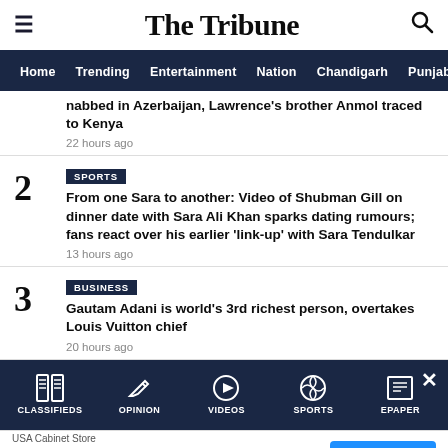The Tribune
Home | Trending | Entertainment | Nation | Chandigarh | Punjab
nabbed in Azerbaijan, Lawrence's brother Anmol traced to Kenya
22 hours ago
2 SPORTS
From one Sara to another: Video of Shubman Gill on dinner date with Sara Ali Khan sparks dating rumours; fans react over his earlier 'link-up' with Sara Tendulkar
13 hours ago
3 BUSINESS
Gautam Adani is world's 3rd richest person, overtakes Louis Vuitton chief
20 hours ago
CLASSIFIEDS | OPINION | VIDEOS | SPORTS | EPAPER
USA Cabinet Store
Get Your Complimentary Design
CONTACT US